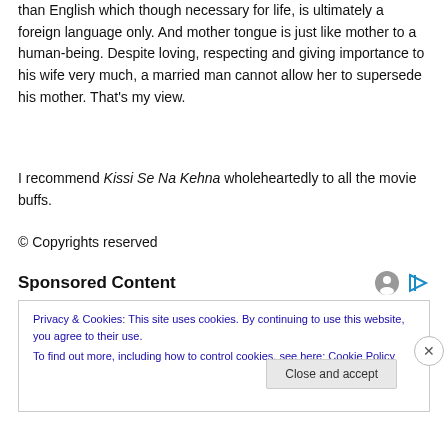than English which though necessary for life, is ultimately a foreign language only. And mother tongue is just like mother to a human-being. Despite loving, respecting and giving importance to his wife very much, a married man cannot allow her to supersede his mother. That's my view.
I recommend Kissi Se Na Kehna wholeheartedly to all the movie buffs.
© Copyrights reserved
Sponsored Content
Privacy & Cookies: This site uses cookies. By continuing to use this website, you agree to their use.
To find out more, including how to control cookies, see here: Cookie Policy
Close and accept